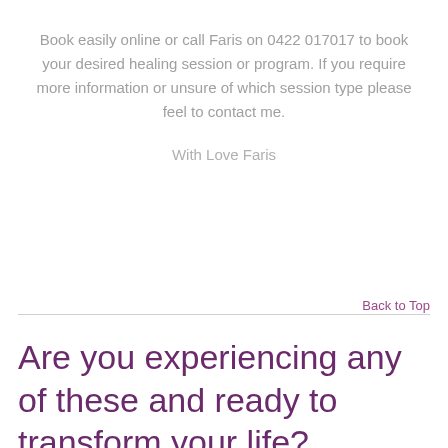Book easily online or call Faris on 0422 017017 to book your desired healing session or program. If you require more information or unsure of which session type please feel to contact me.
With Love Faris
Back to Top
Are you experiencing any of these and ready to transform your life?